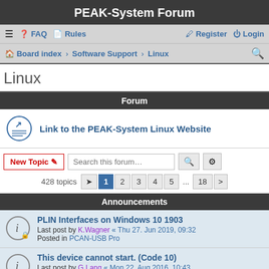PEAK-System Forum
≡ FAQ Rules | Register Login
Board index › Software Support › Linux
Linux
Forum
Link to the PEAK-System Linux Website
New Topic / Search this forum… | 428 topics  1 2 3 4 5 ... 18 >
Announcements
PLIN Interfaces on Windows 10 1903
Last post by K.Wagner « Thu 27. Jun 2019, 09:32
Posted in PCAN-USB Pro
This device cannot start. (Code 10)
Last post by G.Lang « Mon 22. Aug 2016, 10:43
Posted in PCAN-USB Pro